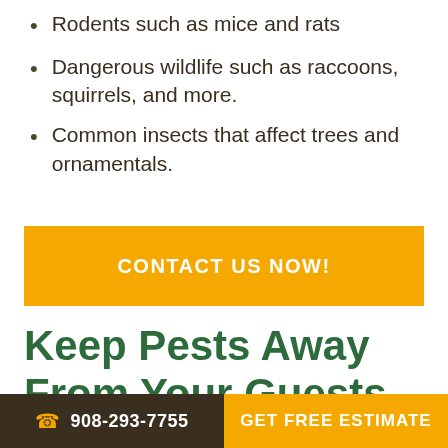Rodents such as mice and rats
Dangerous wildlife such as raccoons, squirrels, and more.
Common insects that affect trees and ornamentals.
CONTACT US NOW!
Keep Pests Away From Your Guests
Our pest control treatments for the hospitality and
908-293-7755   GET FREE ESTIMATE